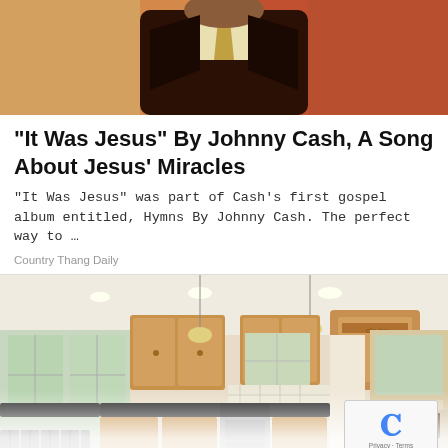[Figure (photo): Photo of a man (Johnny Cash) in a dark suit with light colored shirt/tie, cropped to show upper body, against a reddish-orange background]
"It Was Jesus" By Johnny Cash, A Song About Jesus' Miracles
“It Was Jesus” was part of Cash’s first gospel album entitled, Hymns By Johnny Cash. The perfect way to …
Country Thang Daily
[Figure (photo): Photo of a renovated kitchen interior with wooden cabinets, pendant lights, dark granite countertops, stainless steel appliances, striped chairs, and windows. Below the kitchen photo is a partially visible second image (chairs and table reflection on white surface) with a reCAPTCHA overlay in the bottom right corner.]